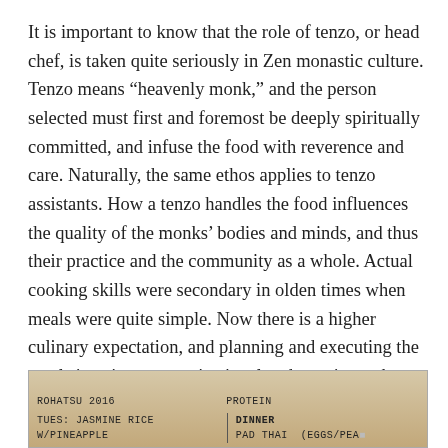It is important to know that the role of tenzo, or head chef, is taken quite seriously in Zen monastic culture. Tenzo means “heavenly monk,” and the person selected must first and foremost be deeply spiritually committed, and infuse the food with reverence and care. Naturally, the same ethos applies to tenzo assistants. How a tenzo handles the food influences the quality of the monks’ bodies and minds, and thus their practice and the community as a whole. Actual cooking skills were secondary in olden times when meals were quite simple. Now there is a higher culinary expectation, and planning and executing the meals is quite an organizational and creative task.
[Figure (photo): Handwritten meal planning chart for Rohatsu 2016 showing columns for protein and dinner items including Pad Thai (eggs/peanuts), Jasmine rice with pineapple]